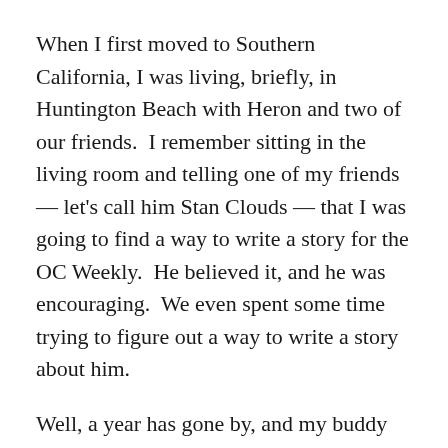When I first moved to Southern California, I was living, briefly, in Huntington Beach with Heron and two of our friends.  I remember sitting in the living room and telling one of my friends — let's call him Stan Clouds — that I was going to find a way to write a story for the OC Weekly.  He believed it, and he was encouraging.  We even spent some time trying to figure out a way to write a story about him.
Well, a year has gone by, and my buddy has moved.  He's living somewhere in the northwest.  It's funny how things change.  It's funny how people move.  It's funny how you can never know the direction of where things are going when you start.